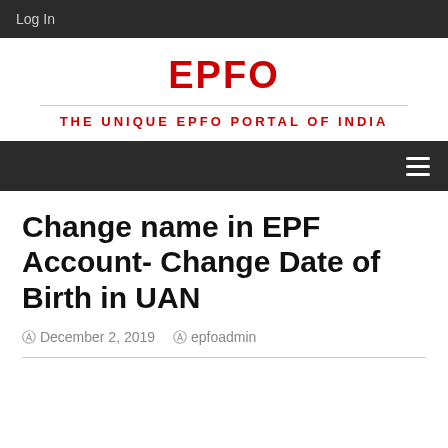Log In
EPFO
THE UNIQUE EPFO PORTAL OF INDIA
Change name in EPF Account- Change Date of Birth in UAN
December 2, 2019  epfoadmin